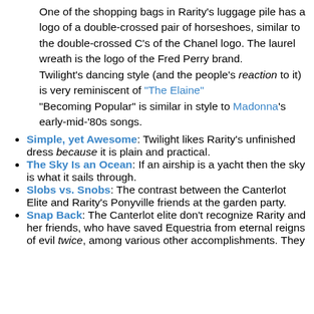One of the shopping bags in Rarity's luggage pile has a logo of a double-crossed pair of horseshoes, similar to the double-crossed C's of the Chanel logo. The laurel wreath is the logo of the Fred Perry brand.
Twilight's dancing style (and the people's reaction to it) is very reminiscent of "The Elaine"
"Becoming Popular" is similar in style to Madonna's early-mid-'80s songs.
Simple, yet Awesome: Twilight likes Rarity's unfinished dress because it is plain and practical.
The Sky Is an Ocean: If an airship is a yacht then the sky is what it sails through.
Slobs vs. Snobs: The contrast between the Canterlot Elite and Rarity's Ponyville friends at the garden party.
Snap Back: The Canterlot elite don't recognize Rarity and her friends, who have saved Equestria from eternal reigns of evil twice, among various other accomplishments. They